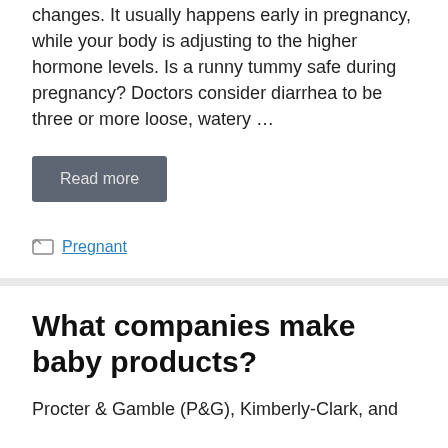changes. It usually happens early in pregnancy, while your body is adjusting to the higher hormone levels. Is a runny tummy safe during pregnancy? Doctors consider diarrhea to be three or more loose, watery …
Read more
Pregnant
What companies make baby products?
Procter & Gamble (P&G), Kimberly-Clark, and